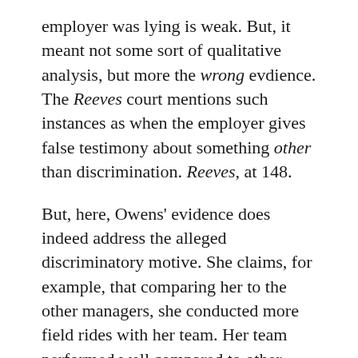employer was lying is weak. But, it meant not some sort of qualitative analysis, but more the wrong evdience.  The Reeves court mentions such instances as when the employer gives false testimony about something other than discrimination. Reeves, at 148.
But, here, Owens' evidence does indeed address the alleged discriminatory motive. She claims, for example, that comparing her to the other managers, she conducted more field rides with her team. Her team performed well compared to other teams. The court, however, rejects this testimony